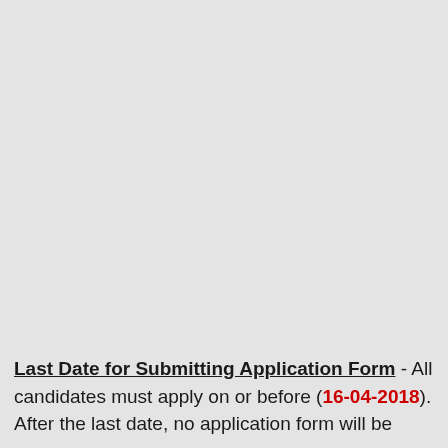Last Date for Submitting Application Form - All candidates must apply on or before (16-04-2018). After the last date, no application form will be